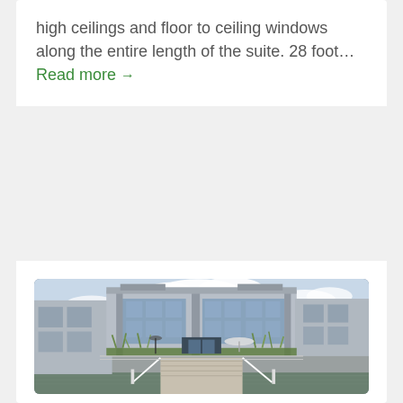high ceilings and floor to ceiling windows along the entire length of the suite. 28 foot... Read more →
[Figure (photo): Exterior photo of a modern multi-story glass-facade commercial or residential building viewed from a waterfront dock. Sky with clouds in background, ornamental grasses along the building base, a walkway/ramp leading from the dock to the building entrance, water visible at the bottom.]